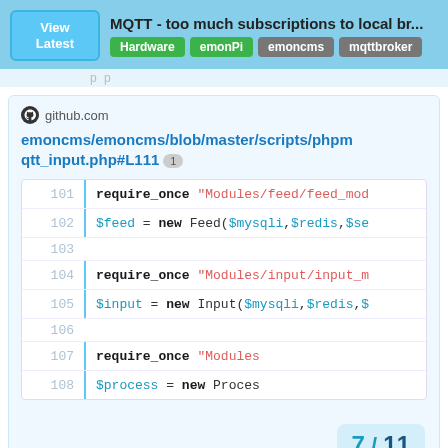MQTT - too much subscriptions to local br... Hardware emonPi emoncms mqttbroker
github.com
emoncms/emoncms/blob/master/scripts/phpmqtt_input.php#L111 1
[Figure (screenshot): Code snippet showing PHP lines 101-108 with require_once and variable assignments, with a page indicator badge '7 / 11']